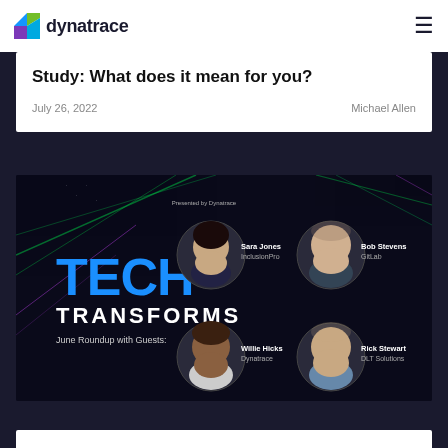dynatrace
Study: What does it mean for you?
July 26, 2022
Michael Allen
[Figure (illustration): Tech Transforms podcast June Roundup banner with guests: Sara Jones (InclusionPro), Bob Stevens (GitLab), Willie Hicks (Dynatrace), Rick Stewart (DLT Solutions). Dark background with circuit board imagery and large blue TECH TRANSFORMS text.]